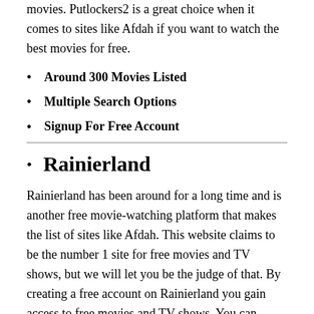movies. Putlockers2 is a great choice when it comes to sites like Afdah if you want to watch the best movies for free.
Around 300 Movies Listed
Multiple Search Options
Signup For Free Account
Rainierland
Rainierland has been around for a long time and is another free movie-watching platform that makes the list of sites like Afdah. This website claims to be the number 1 site for free movies and TV shows, but we will let you be the judge of that. By creating a free account on Rainierland you gain access to free movies and TV shows. You can search for movies and shows by title, star rating